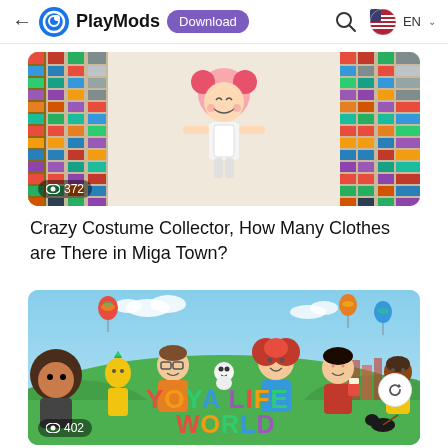← PlayMods  Download  🔍  EN
[Figure (screenshot): Thumbnail image showing a cartoon girl character surrounded by tall shelves of colorful clothes, with view count 372]
Crazy Costume Collector, How Many Clothes are There in Miga Town?
[Figure (screenshot): Thumbnail image for Yoya Life World game showing cartoon characters on a green field with hot air balloons, with view count 402]